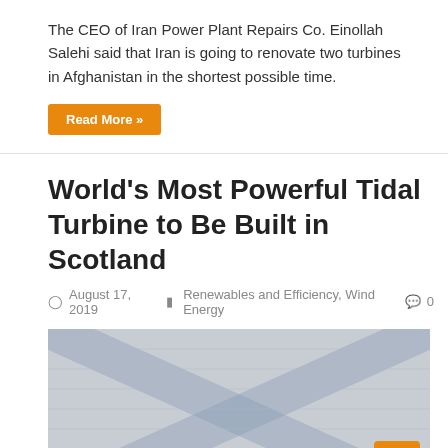The CEO of Iran Power Plant Repairs Co. Einollah Salehi said that Iran is going to renovate two turbines in Afghanistan in the shortest possible time.
Read More »
World's Most Powerful Tidal Turbine to Be Built in Scotland
August 17, 2019   Renewables and Efficiency, Wind Energy   0
[Figure (photo): Faded image showing Scotland flag with blue and white cross pattern, partially visible, used as article thumbnail for the tidal turbine article.]